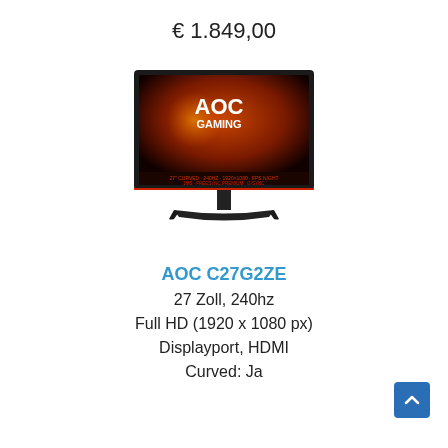€ 1.849,00
[Figure (photo): AOC Gaming monitor C27G2ZE shown front-facing with red/orange gaming imagery on screen and AOC Gaming branding]
AOC C27G2ZE
27 Zoll, 240hz
Full HD (1920 x 1080 px)
Displayport, HDMI
Curved: Ja